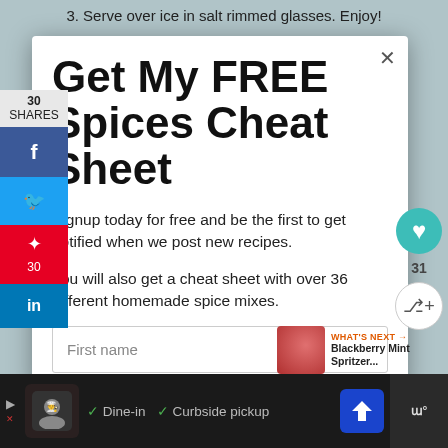3. Serve over ice in salt rimmed glasses. Enjoy!
Get My FREE Spices Cheat Sheet
Signup today for free and be the first to get notified when we post new recipes.
You will also get a cheat sheet with over 36 different homemade spice mixes.
First name
WHAT'S NEXT → Blackberry Mint Spritzer...
✓ Dine-in  ✓ Curbside pickup